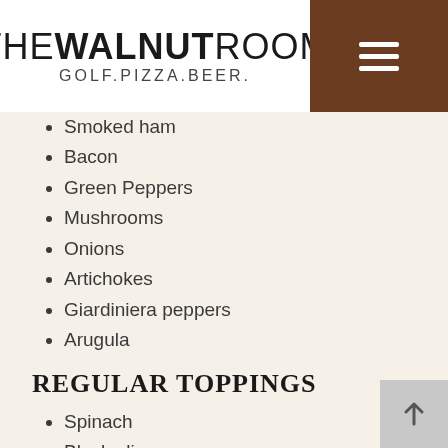THE WALNUT ROOM GOLF.PIZZA.BEER.
Smoked ham
Bacon
Green Peppers
Mushrooms
Onions
Artichokes
Giardiniera peppers
Arugula
REGULAR TOPPINGS
Spinach
Black olives
Green olives
Pineapples
Jalapenos
Pepperoncini
Walnuts
Fresh tomatoes